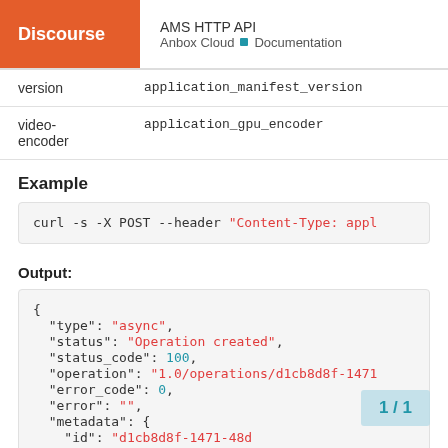AMS HTTP API | Anbox Cloud | Documentation
|  |  |
| --- | --- |
| version | application_manifest_version |
| video-encoder | application_gpu_encoder |
Example
curl -s -X POST --header "Content-Type: appl
Output:
{
  "type": "async",
  "status": "Operation created",
  "status_code": 100,
  "operation": "1.0/operations/d1cb8d8f-1471...",
  "error_code": 0,
  "error": "",
  "metadata": {
    "id": "d1cb8d8f-1471-48d...